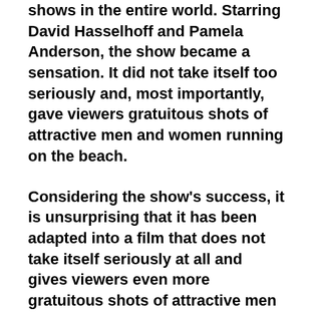shows in the entire world. Starring David Hasselhoff and Pamela Anderson, the show became a sensation. It did not take itself too seriously and, most importantly, gave viewers gratuitous shots of attractive men and women running on the beach.
Considering the show's success, it is unsurprising that it has been adapted into a film that does not take itself seriously at all and gives viewers even more gratuitous shots of attractive men and women running on the beach.
Director Seth Gordon and his actors poke good-natured fun at the